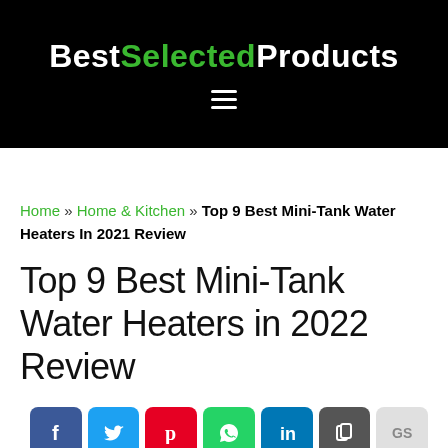BestSelectedProducts
Home » Home & Kitchen » Top 9 Best Mini-Tank Water Heaters In 2021 Review
Top 9 Best Mini-Tank Water Heaters in 2022 Review
[Figure (infographic): Social sharing buttons: Facebook, Twitter, Pinterest, WhatsApp, LinkedIn, Copy, GoodSnippet]